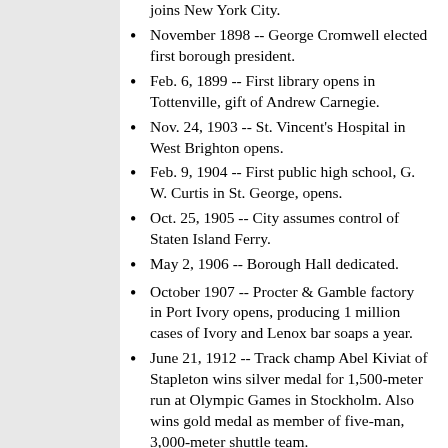joins New York City.
November 1898 -- George Cromwell elected first borough president.
Feb. 6, 1899 -- First library opens in Tottenville, gift of Andrew Carnegie.
Nov. 24, 1903 -- St. Vincent's Hospital in West Brighton opens.
Feb. 9, 1904 -- First public high school, G. W. Curtis in St. George, opens.
Oct. 25, 1905 -- City assumes control of Staten Island Ferry.
May 2, 1906 -- Borough Hall dedicated.
October 1907 -- Procter & Gamble factory in Port Ivory opens, producing 1 million cases of Ivory and Lenox bar soaps a year.
June 21, 1912 -- Track champ Abel Kiviat of Stapleton wins silver medal for 1,500-meter run at Olympic Games in Stockholm. Also wins gold medal as member of five-man, 3,000-meter shuttle team.
Feb. 1, 1917 -- All local post offices